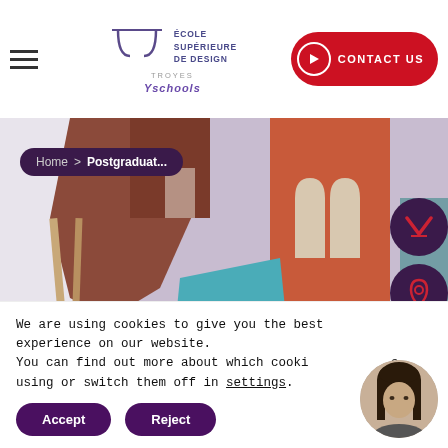ÉCOLE SUPÉRIEURE DE DESIGN TROYES — CONTACT US
[Figure (screenshot): Hero image showing colorful abstract artistic mural with shapes in orange, brown, teal, and lavender; breadcrumb navigation overlay: Home > Postgraduat...]
We are using cookies to give you the best experience on our website.
You can find out more about which cookies we are using or switch them off in settings.
Accept   Reject